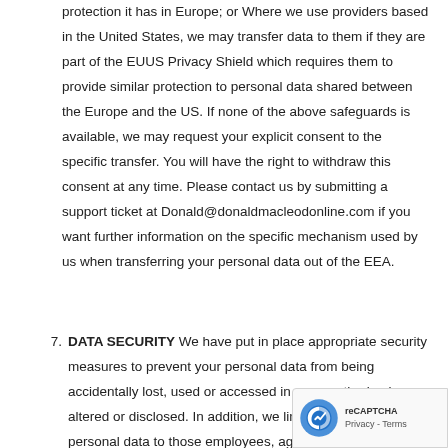protection it has in Europe; or Where we use providers based in the United States, we may transfer data to them if they are part of the EUUS Privacy Shield which requires them to provide similar protection to personal data shared between the Europe and the US. If none of the above safeguards is available, we may request your explicit consent to the specific transfer. You will have the right to withdraw this consent at any time. Please contact us by submitting a support ticket at Donald@donaldmacleodonline.com if you want further information on the specific mechanism used by us when transferring your personal data out of the EEA.
7. DATA SECURITY We have put in place appropriate security measures to prevent your personal data from being accidentally lost, used or accessed in an unauthorised way, altered or disclosed. In addition, we limit access to your personal data to those employees, agents, contractors other third parties who have a business need to know such